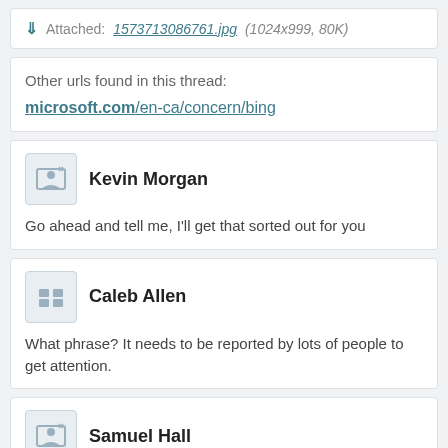Attached: 1573713086761.jpg (1024x999, 80K)
Other urls found in this thread:
microsoft.com/en-ca/concern/bing
Kevin Morgan
Go ahead and tell me, I'll get that sorted out for you
Caleb Allen
What phrase? It needs to be reported by lots of people to get attention.
Samuel Hall
Im sorry I cannot tell you, I think that would technically count as distribution and I am not risking it.